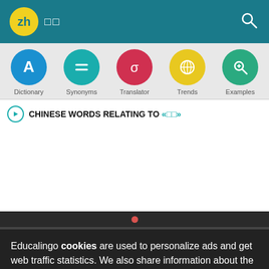zh 词典
[Figure (screenshot): Navigation icons: Dictionary (blue circle with A), Synonyms (teal circle with equals), Translator (red circle with sigma), Trends (yellow circle with globe), Examples (green circle with magnifier)]
CHINESE WORDS RELATING TO «□□»
Educalingo cookies are used to personalize ads and get web traffic statistics. We also share information about the use of the site with our social media, advertising and analytics partners.
View details   Got it